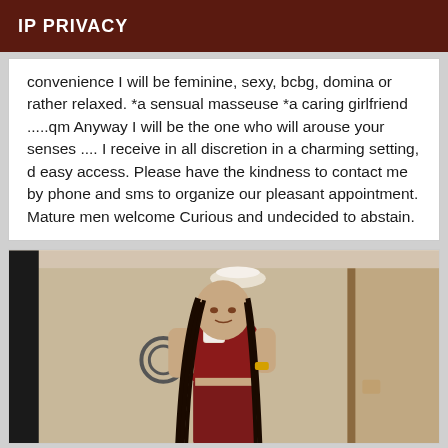IP PRIVACY
convenience I will be feminine, sexy, bcbg, domina or rather relaxed. *a sensual masseuse *a caring girlfriend .....qm Anyway I will be the one who will arouse your senses .... I receive in all discretion in a charming setting, d easy access. Please have the kindness to contact me by phone and sms to organize our pleasant appointment. Mature men welcome Curious and undecided to abstain.
[Figure (photo): Mirror selfie of a woman with long braided hair wearing a dark red crop top and pants, holding a phone, taken in a bathroom/bedroom setting]